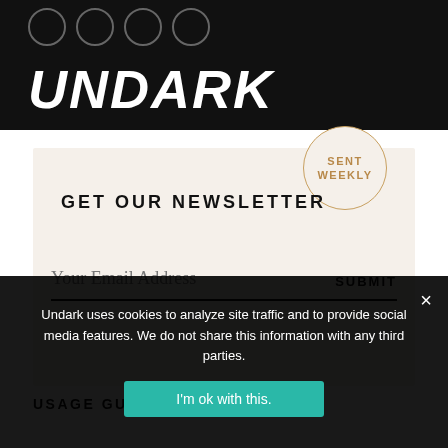UNDARK
GET OUR NEWSLETTER
SENT WEEKLY
Your Email Address
SUBMIT
USAGE GUIDELINES
Undark uses cookies to analyze site traffic and to provide social media features. We do not share this information with any third parties.
I'm ok with this.